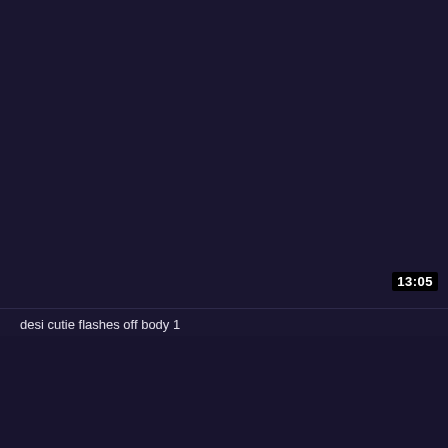[Figure (screenshot): Dark navy/purple video thumbnail placeholder, mostly empty dark background]
13:05
desi cutie flashes off body 1
[Figure (screenshot): Dark navy/purple lower section background]